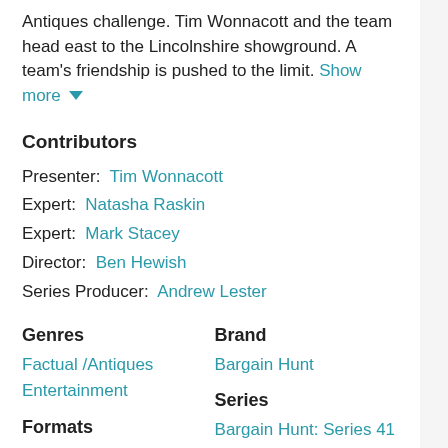Antiques challenge. Tim Wonnacott and the team head east to the Lincolnshire showground. A team's friendship is pushed to the limit. Show more ▾
Contributors
Presenter: Tim Wonnacott
Expert: Natasha Raskin
Expert: Mark Stacey
Director: Ben Hewish
Series Producer: Andrew Lester
Genres
Factual /Antiques Entertainment
Brand
Bargain Hunt
Formats
Games & Quizzes
Series
Bargain Hunt: Series 41